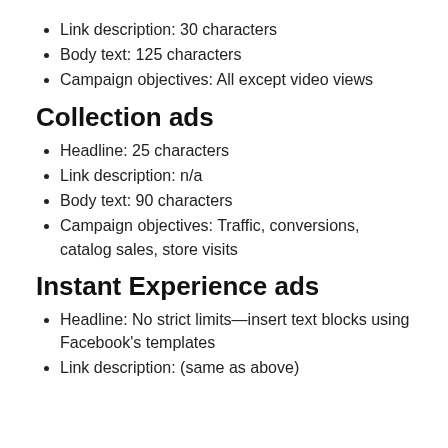Link description: 30 characters
Body text: 125 characters
Campaign objectives: All except video views
Collection ads
Headline: 25 characters
Link description: n/a
Body text: 90 characters
Campaign objectives: Traffic, conversions, catalog sales, store visits
Instant Experience ads
Headline: No strict limits—insert text blocks using Facebook's templates
Link description: (same as above)